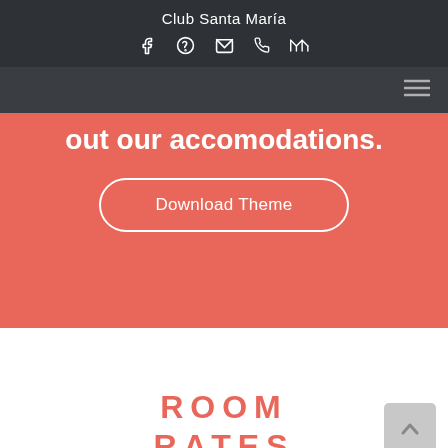Club Santa María
[Figure (infographic): Social/contact icons row: Facebook, WhatsApp, Email, Phone, Map]
[Figure (infographic): Navigation hamburger menu icon in dark nav bar]
out our accomodations.
Download Theme
ROOM RATES